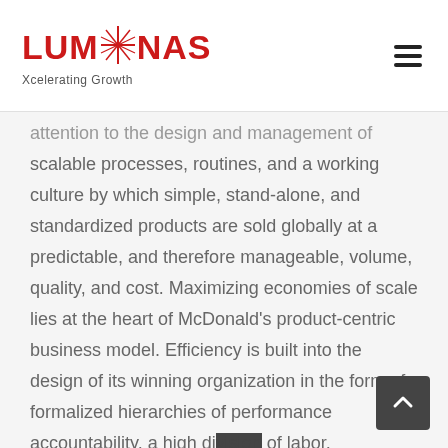LUMINAS Xcelerating Growth
attention to the design and management of scalable processes, routines, and a working culture by which simple, stand-alone, and standardized products are sold globally at a predictable, and therefore manageable, volume, quality, and cost. Maximizing economies of scale lies at the heart of McDonald’s product-centric business model. Efficiency is built into the design of its winning organization in the form of formalized hierarchies of performance accountability, a high division of labor, routinization of specialist tasks, and teamwork at the point of sale. McDonald’s has